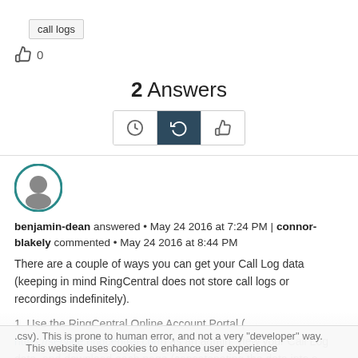call logs
0
2 Answers
[Figure (other): Sort buttons: clock icon, history/sort icon (active, dark background), thumbs-up icon]
[Figure (other): User avatar - circular profile picture of benjamin-dean with teal border]
benjamin-dean answered • May 24 2016 at 7:24 PM | connor-blakely commented • May 24 2016 at 8:44 PM
There are a couple of ways you can get your Call Log data (keeping in mind RingCentral does not store call logs or recordings indefinitely).
1. Use the RingCentral Online Account Portal ( https://service.ringcentral.com) as an admin, view your Call Log data, and download each page (concatenating the data into a single .csv). This is prone to human error, and not a very "developer" way.
This website uses cookies to enhance user experience